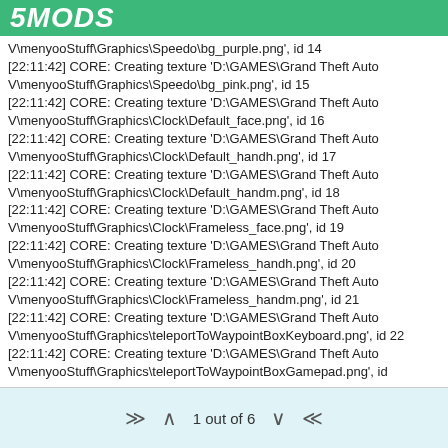5MODS
V\menyooStuff\Graphics\Speedo\bg_purple.png', id 14
[22:11:42] CORE: Creating texture 'D:\GAMES\Grand Theft Auto V\menyooStuff\Graphics\Speedo\bg_pink.png', id 15
[22:11:42] CORE: Creating texture 'D:\GAMES\Grand Theft Auto V\menyooStuff\Graphics\Clock\Default_face.png', id 16
[22:11:42] CORE: Creating texture 'D:\GAMES\Grand Theft Auto V\menyooStuff\Graphics\Clock\Default_handh.png', id 17
[22:11:42] CORE: Creating texture 'D:\GAMES\Grand Theft Auto V\menyooStuff\Graphics\Clock\Default_handm.png', id 18
[22:11:42] CORE: Creating texture 'D:\GAMES\Grand Theft Auto V\menyooStuff\Graphics\Clock\Frameless_face.png', id 19
[22:11:42] CORE: Creating texture 'D:\GAMES\Grand Theft Auto V\menyooStuff\Graphics\Clock\Frameless_handh.png', id 20
[22:11:42] CORE: Creating texture 'D:\GAMES\Grand Theft Auto V\menyooStuff\Graphics\Clock\Frameless_handm.png', id 21
[22:11:42] CORE: Creating texture 'D:\GAMES\Grand Theft Auto V\menyooStuff\Graphics\teleportToWaypointBoxKeyboard.png', id 22
[22:11:42] CORE: Creating texture 'D:\GAMES\Grand Theft Auto V\menyooStuff\Graphics\teleportToWaypointBoxGamepad.png', id
1 out of 6